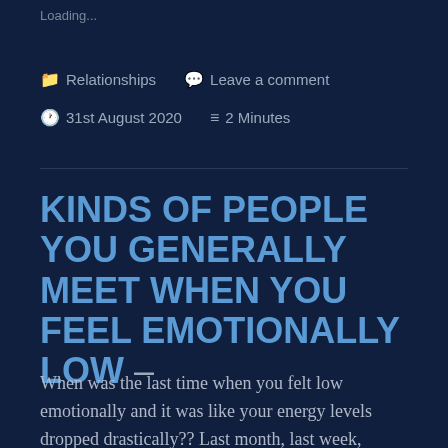Loading...
📁 Relationships   💬 Leave a comment
🕐 31st August 2020   ≡ 2 Minutes
KINDS OF PEOPLE YOU GENERALLY MEET WHEN YOU FEEL EMOTIONALLY LOW –
When was the last time when you felt low emotionally and it was like your energy levels dropped drastically?? Last month, last week,